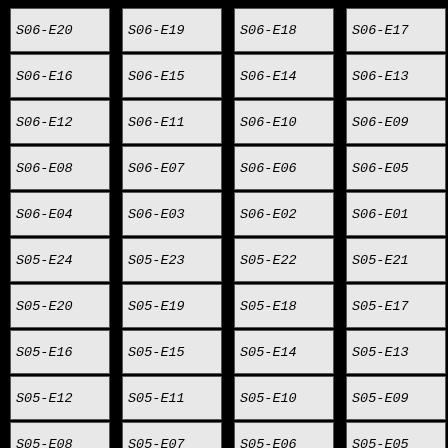[Figure (schematic): Grid of 40 labeled boxes on black background, arranged in 10 rows of 4 columns. Each box contains an italicized monospace label identifying a schematic block. Labels in order: S06-E20, S06-E19, S06-E18, S06-E17, S06-E16, S06-E15, S06-E14, S06-E13, S06-E12, S06-E11, S06-E10, S06-E09, S06-E08, S06-E07, S06-E06, S06-E05, S06-E04, S06-E03, S06-E02, S06-E01, S05-E24, S05-E23, S05-E22, S05-E21, S05-E20, S05-E19, S05-E18, S05-E17, S05-E16, S05-E15, S05-E14, S05-E13, S05-E12, S05-E11, S05-E10, S05-E09, S05-E08, S05-E07, S05-E06, S05-E05]